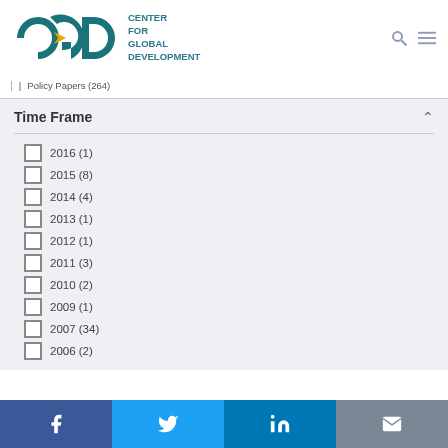[Figure (logo): CGD Center for Global Development logo with teal letters and yellow arrow]
| Policy Papers (264)
Time Frame
2016 (1)
2015 (8)
2014 (4)
2013 (1)
2012 (1)
2011 (3)
2010 (2)
2009 (1)
2007 (34)
2006 (2)